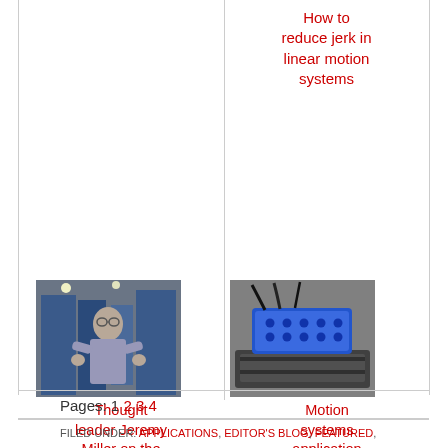How to reduce jerk in linear motion systems
[Figure (photo): Person in industrial setting near blue machinery]
Thought leader Jeremy Miller on the migration from fluid power…
[Figure (photo): Blue linear motor/motion system device on rail]
Motion systems application examples: Linear motors
Pages: 1 2 3 4
FILED UNDER: APPLICATIONS, EDITOR'S BLOG, FEATURED,